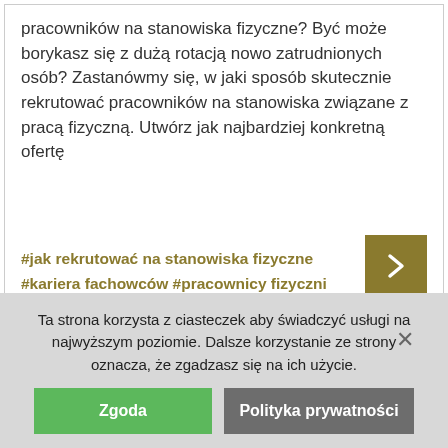pracowników na stanowiska fizyczne? Być może borykasz się z dużą rotacją nowo zatrudnionych osób? Zastanówmy się, w jaki sposób skutecznie rekrutować pracowników na stanowiska związane z pracą fizyczną. Utwórz jak najbardziej konkretną ofertę
#jak rekrutować na stanowiska fizyczne #kariera fachowców #pracownicy fizyczni
Ta strona korzysta z ciasteczek aby świadczyć usługi na najwyższym poziomie. Dalsze korzystanie ze strony oznacza, że zgadzasz się na ich użycie.